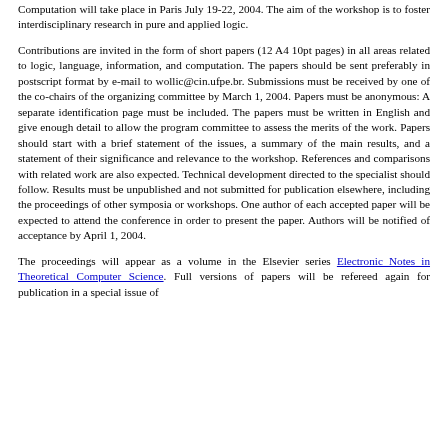Computation will take place in Paris July 19-22, 2004. The aim of the workshop is to foster interdisciplinary research in pure and applied logic.
Contributions are invited in the form of short papers (12 A4 10pt pages) in all areas related to logic, language, information, and computation. The papers should be sent preferably in postscript format by e-mail to wollic@cin.ufpe.br. Submissions must be received by one of the co-chairs of the organizing committee by March 1, 2004. Papers must be anonymous: A separate identification page must be included. The papers must be written in English and give enough detail to allow the program committee to assess the merits of the work. Papers should start with a brief statement of the issues, a summary of the main results, and a statement of their significance and relevance to the workshop. References and comparisons with related work are also expected. Technical development directed to the specialist should follow. Results must be unpublished and not submitted for publication elsewhere, including the proceedings of other symposia or workshops. One author of each accepted paper will be expected to attend the conference in order to present the paper. Authors will be notified of acceptance by April 1, 2004.
The proceedings will appear as a volume in the Elsevier series Electronic Notes in Theoretical Computer Science. Full versions of papers will be refereed again for publication in a special issue of